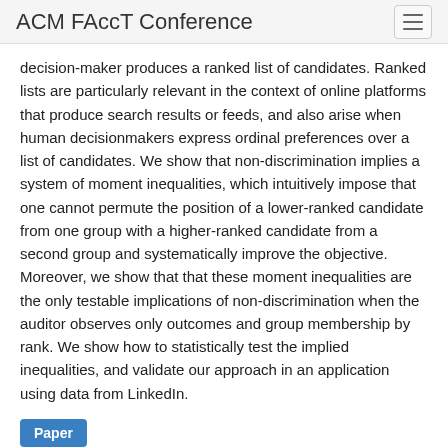ACM FAccT Conference
decision-maker produces a ranked list of candidates. Ranked lists are particularly relevant in the context of online platforms that produce search results or feeds, and also arise when human decisionmakers express ordinal preferences over a list of candidates. We show that non-discrimination implies a system of moment inequalities, which intuitively impose that one cannot permute the position of a lower-ranked candidate from one group with a higher-ranked candidate from a second group and systematically improve the objective. Moreover, we show that that these moment inequalities are the only testable implications of non-discrimination when the auditor observes only outcomes and group membership by rank. We show how to statistically test the implied inequalities, and validate our approach in an application using data from LinkedIn.
Paper
Video
Are "Intersectionally Fair" AI Algorithms Really Fair to Women of Color? A Philosophical Analysis